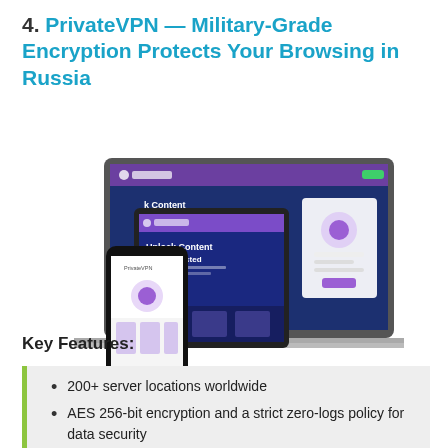4. PrivateVPN — Military-Grade Encryption Protects Your Browsing in Russia
[Figure (screenshot): PrivateVPN website screenshot shown across laptop, tablet, and smartphone devices. The website shows 'Unlock Content Stay protected' branding with purple and dark blue color scheme.]
Key Features:
200+ server locations worldwide
AES 256-bit encryption and a strict zero-logs policy for data security